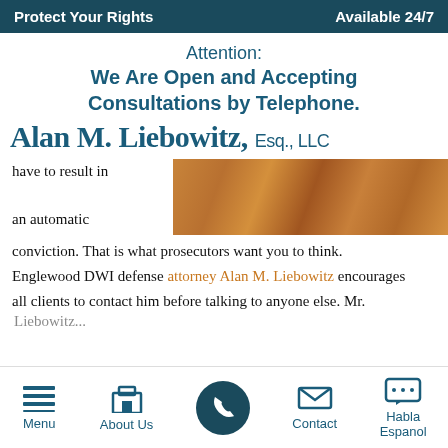Protect Your Rights    Available 24/7
Attention:
We Are Open and Accepting Consultations by Telephone.
Alan M. Liebowitz, Esq., LLC
have to result in an automatic conviction. That is what prosecutors want you to think. Englewood DWI defense attorney Alan M. Liebowitz encourages all clients to contact him before talking to anyone else. Mr.
[Figure (photo): Close-up photo of a wooden surface/table]
Menu  About Us  [phone]  Contact  Habla Espanol